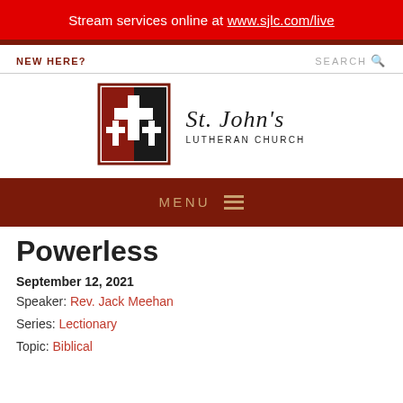Stream services online at www.sjlc.com/live
NEW HERE?
SEARCH
[Figure (logo): St. John's Lutheran Church logo with cross symbol in red and black square, beside the text 'ST. JOHN'S LUTHERAN CHURCH']
MENU
Powerless
September 12, 2021
Speaker: Rev. Jack Meehan
Series: Lectionary
Topic: Biblical